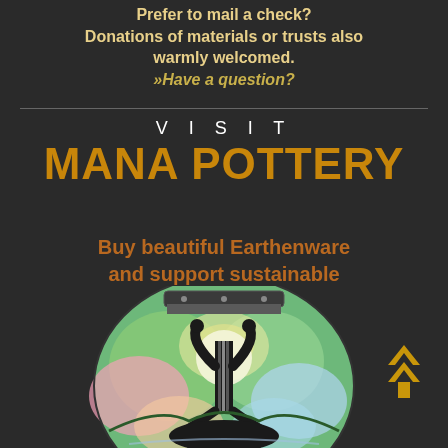Prefer to mail a check? Donations of materials or trusts also warmly welcomed. »Have a question?
VISIT MANA POTTERY
Buy beautiful Earthenware and support sustainable Peyotism.
[Figure (photo): Colorful round ceramic pottery vessel with a black silhouette figure in a meditative pose with arms raised, against a vibrant multicolored abstract background of blues, greens, pinks and yellows.]